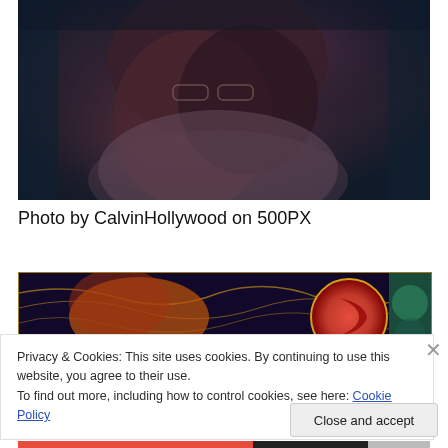[Figure (photo): Dark atmospheric photo of a figure with long hair and glasses, dramatic teal and dark purple tones, moody lighting]
Photo by CalvinHollywood on 500PX
[Figure (photo): Colorful graphic/illustration with dark blue background, red circular emblem, decorative patterns]
Privacy & Cookies: This site uses cookies. By continuing to use this website, you agree to their use.
To find out more, including how to control cookies, see here: Cookie Policy
Close and accept